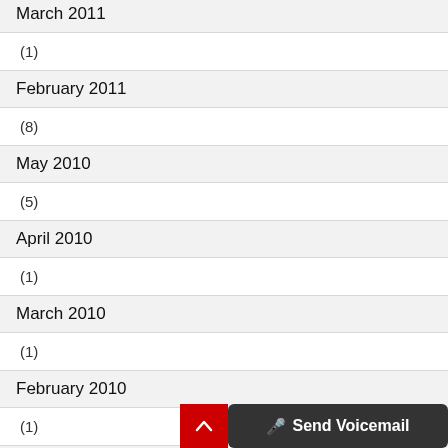March 2011
(1)
February 2011
(8)
May 2010
(5)
April 2010
(1)
March 2010
(1)
February 2010
(1)